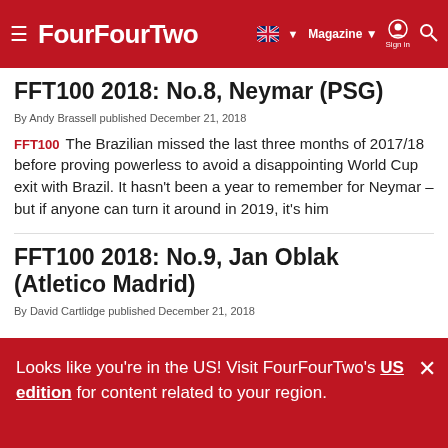FourFourTwo — Magazine | Sign in
FFT100 2018: No.8, Neymar (PSG)
By Andy Brassell published December 21, 2018
FFT100   The Brazilian missed the last three months of 2017/18 before proving powerless to avoid a disappointing World Cup exit with Brazil. It hasn't been a year to remember for Neymar – but if anyone can turn it around in 2019, it's him
FFT100 2018: No.9, Jan Oblak (Atletico Madrid)
By David Cartlidge published December 21, 2018
Looks like you're in the US! Visit FourFourTwo's US edition for content related to your region.